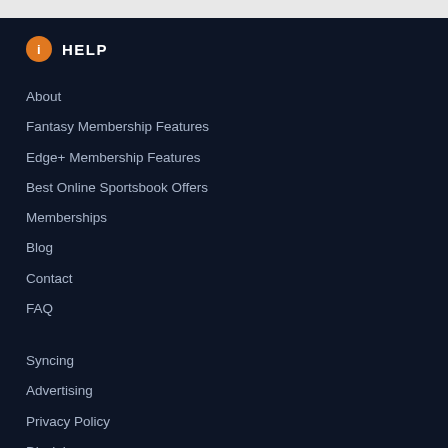HELP
About
Fantasy Membership Features
Edge+ Membership Features
Best Online Sportsbook Offers
Memberships
Blog
Contact
FAQ
Syncing
Advertising
Privacy Policy
Disclaimer
Responsible Gambling Policy
Syndicate Content